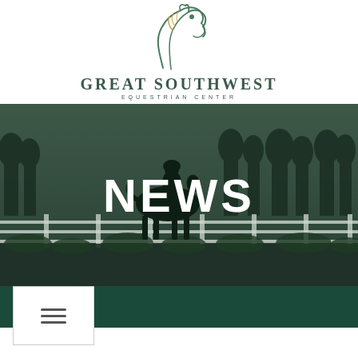[Figure (logo): Great Southwest Equestrian Center logo with horse head illustration above the text]
[Figure (photo): Hero banner photograph of an equestrian riding a horse at an outdoor equestrian facility with white fences and trees, overlaid with large white bold text reading NEWS]
NEWS
[Figure (infographic): Dark teal navigation bar with hamburger menu icon (three horizontal lines)]
[Figure (infographic): White box with hamburger menu icon (three horizontal lines) on white background below navigation bar]